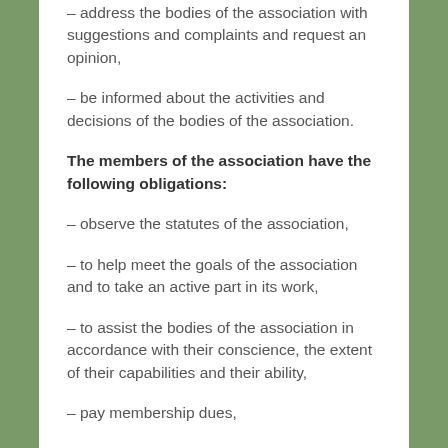– address the bodies of the association with suggestions and complaints and request an opinion,
– be informed about the activities and decisions of the bodies of the association.
The members of the association have the following obligations:
– observe the statutes of the association,
– to help meet the goals of the association and to take an active part in its work,
– to assist the bodies of the association in accordance with their conscience, the extent of their capabilities and their ability,
– pay membership dues,